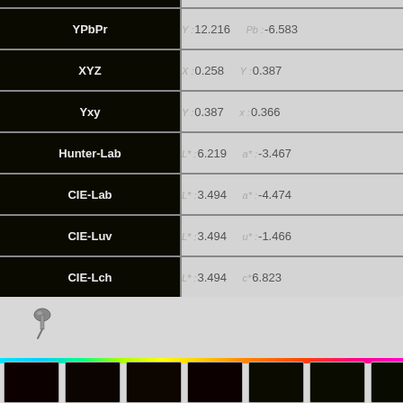| Color Space | Value 1 | Value 2 |
| --- | --- | --- |
| YPbPr | Y: 12.216 | Pb: -6.583 |
| XYZ | X: 0.258 | Y: 0.387 |
| Yxy | Y: 0.387 | x: 0.366 |
| Hunter-Lab | L*: 6.219 | a*: -3.467 |
| CIE-Lab | L*: 3.494 | a*: -4.474 |
| CIE-Luv | L*: 3.494 | u*: -1.466 |
| CIE-Lch | L*: 3.494 | c*: 6.823 |
| Munsell (JIS Approximate) | 5GY 2/6 , 7.5GY 2/6 , 5GY 1/4 |  |
[Figure (infographic): Color spectrum bar from cyan through green to red/pink, with color swatches below labeled with hex codes starting 0C0100, 0C0400, 0C0500, 0C0000, 0C0B00, 0B0C00, 080C00]